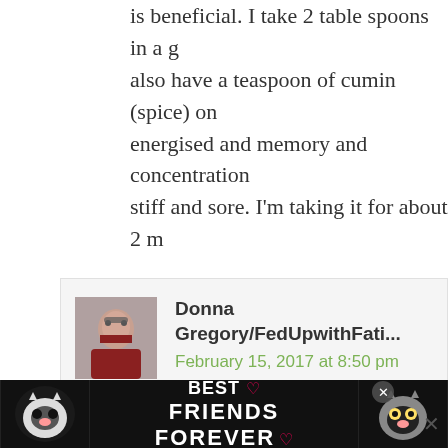is beneficial. I take 2 table spoons in a g... also have a teaspoon of cumin (spice) on... energised and memory and concentration... stiff and sore. I'm taking it for about 2 m...
Reply
[Figure (photo): Avatar photo of Donna Gregory, a woman with glasses]
Donna Gregory/FedUpwithFati...
February 15, 2017 at 8:50 pm
Raw apple cider vinegar is great for lo... blood sugar control, weight loss, etc. ... that you're finding it helpful.
[Figure (photo): Advertisement banner: Best Friends Forever with two cats]